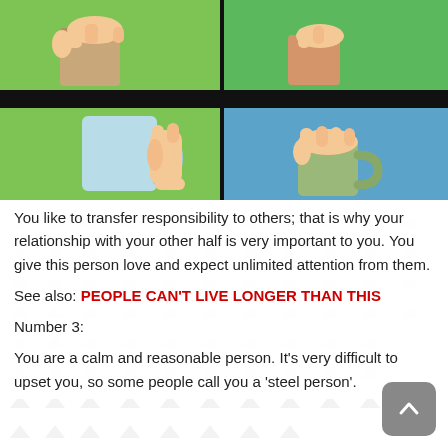[Figure (illustration): Four-panel comic-style illustration showing hands holding mugs in different ways. Top-left: hand holding a tan/beige mug from above on green background. Top-right: hand pinching/holding a mug from above on green background. Black divider bar between top and bottom rows. Bottom-left: hand gripping a light blue mug by the handle on green background. Bottom-right: hand holding a green mug from the top on blue background.]
You like to transfer responsibility to others; that is why your relationship with your other half is very important to you. You give this person love and expect unlimited attention from them.
See also: PEOPLE CAN'T LIVE LONGER THAN THIS
Number 3:
You are a calm and reasonable person. It's very difficult to upset you, so some people call you a 'steel person'.